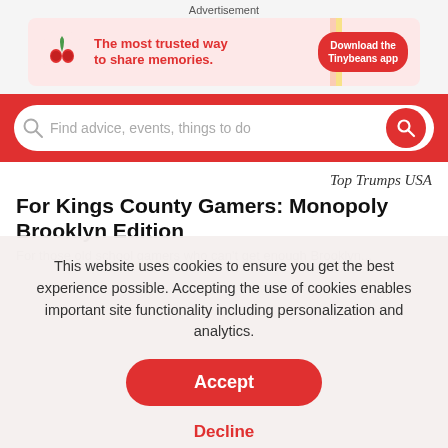Advertisement
[Figure (infographic): Tinybeans advertisement banner: red plant/cherry icon on pink background, text 'The most trusted way to share memories.' with red 'Download the Tinybeans app' button]
[Figure (screenshot): Red search bar with placeholder text 'Find advice, events, things to do' and red circular search button on right]
Top Trumps USA
For Kings County Gamers: Monopoly Brooklyn Edition
For those old school gamers who can't get enough Brooklyn...
This website uses cookies to ensure you get the best experience possible. Accepting the use of cookies enables important site functionality including personalization and analytics.
Accept
Decline